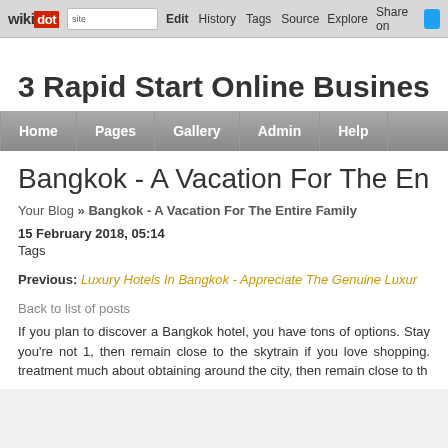wikidot | site Edit History Tags Source Explore Share on [Twitter]
3 Rapid Start Online Business Op
Home | Pages | Gallery | Admin | Help
Bangkok - A Vacation For The Entire Fam
Your Blog » Bangkok - A Vacation For The Entire Family
15 February 2018, 05:14
Tags
Previous: Luxury Hotels In Bangkok - Appreciate The Genuine Luxur
Back to list of posts
If you plan to discover a Bangkok hotel, you have tons of options. Stay you're not 1, then remain close to the skytrain if you love shopping. treatment much about obtaining around the city, then remain close to th